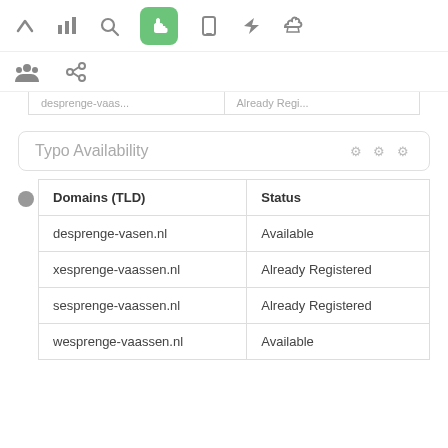[Figure (screenshot): Top navigation toolbar with icons: up arrow, bar chart, search, hand/pointer (active, green background), mobile, send/rocket, thumbs up]
[Figure (screenshot): Second toolbar row with group/people icon and chain/link icon]
|  |
| --- |
| (partial row, truncated text) |
Typo Availability
| Domains (TLD) | Status |
| --- | --- |
| desprenge-vasen.nl | Available |
| xesprenge-vaassen.nl | Already Registered |
| sesprenge-vaassen.nl | Already Registered |
| wesprenge-vaassen.nl | Available |